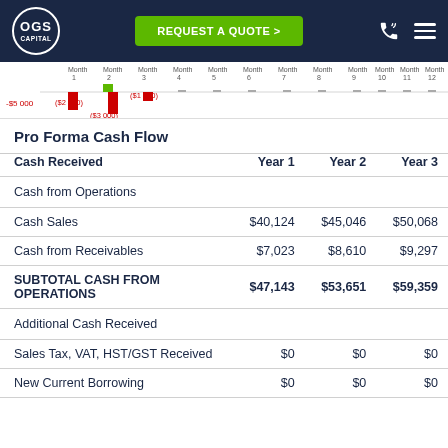OGS Capital | REQUEST A QUOTE
[Figure (bar-chart): Monthly cash flow chart showing negative values for early months (Month 1: -$2,000, Month 2: -$3,000, Month 3: -$1,000) and near-zero or positive values for months 4-12]
Pro Forma Cash Flow
| Cash Received | Year 1 | Year 2 | Year 3 |
| --- | --- | --- | --- |
| Cash from Operations |  |  |  |
| Cash Sales | $40,124 | $45,046 | $50,068 |
| Cash from Receivables | $7,023 | $8,610 | $9,297 |
| SUBTOTAL CASH FROM OPERATIONS | $47,143 | $53,651 | $59,359 |
| Additional Cash Received |  |  |  |
| Sales Tax, VAT, HST/GST Received | $0 | $0 | $0 |
| New Current Borrowing | $0 | $0 | $0 |